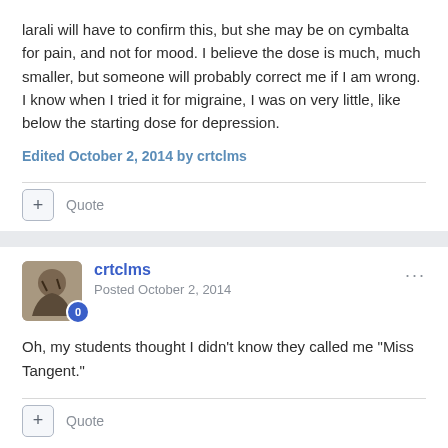larali will have to confirm this, but she may be on cymbalta for pain, and not for mood. I believe the dose is much, much smaller, but someone will probably correct me if I am wrong. I know when I tried it for migraine, I was on very little, like below the starting dose for depression.
Edited October 2, 2014 by crtclms
Quote
crtclms
Posted October 2, 2014
Oh, my students thought I didn't know they called me "Miss Tangent."
Quote